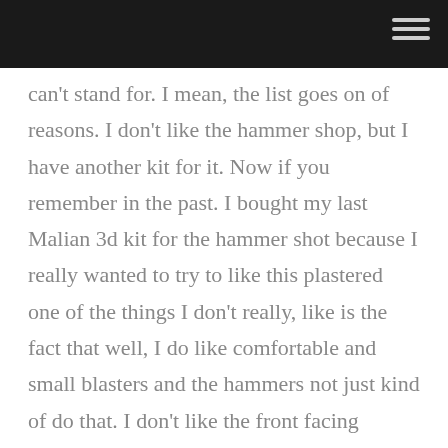can't stand for. I mean, the list goes on of reasons. I don't like the hammer shop, but I have another kit for it. Now if you remember in the past. I bought my last Malian 3d kit for the hammer shot because I really wanted to try to like this plastered one of the things I don't really, like is the fact that well, I do like comfortable and small blasters and the hammers not just kind of do that. I don't like the front facing cylinder. I don't like that at all, and that's something I can get